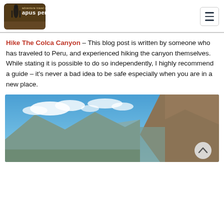apus peru — adventure travel specialists
Hike The Colca Canyon – This blog post is written by someone who has traveled to Peru, and experienced hiking the canyon themselves. While stating it is possible to do so independently, I highly recommend a guide – it's never a bad idea to be safe especially when you are in a new place.
[Figure (photo): Scenic view of the Colca Canyon with mountains, rocky cliffs, and blue sky with white clouds.]